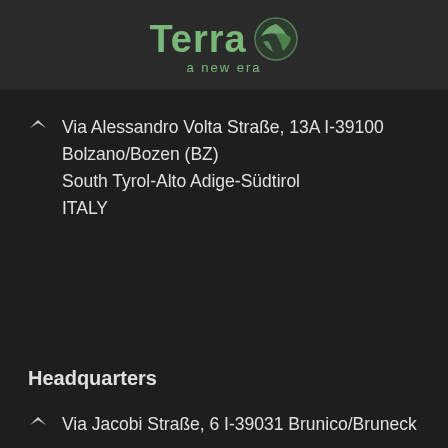[Figure (logo): Terra logo with globe icon and tagline 'a new era']
Via Alessandro Volta Straße, 13A I-39100 Bolzano/Bozen (BZ)
South Tyrol-Alto Adige-Südtirol
ITALY
Headquarters
Via Jacobi Straße, 6 I-39031 Brunico/Bruneck